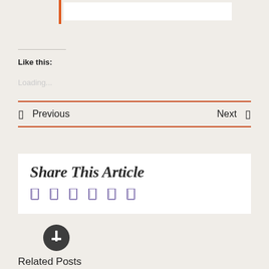[Figure (screenshot): Top portion of a blog/article page showing an orange vertical accent bar and a white input/search box]
Like this:
Loading...
◁  Previous   Next  ▷
Share This Article
Social share icons (6 icons in purple/violet color)
[Figure (other): Dark circular button icon]
Related Posts